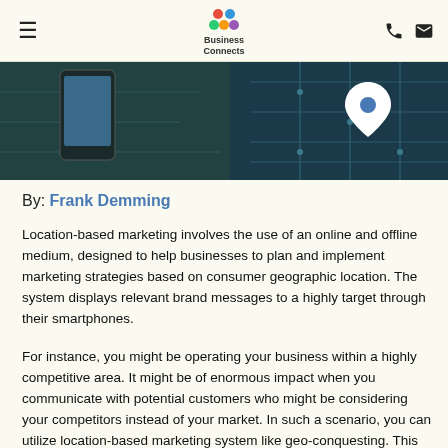Business Connects
[Figure (photo): Hero image showing a hand holding a smartphone with a teal/dark technology circuit board background and a white location pin icon]
By: Frank Demming
Location-based marketing involves the use of an online and offline medium, designed to help businesses to plan and implement marketing strategies based on consumer geographic location. The system displays relevant brand messages to a highly target through their smartphones.
For instance, you might be operating your business within a highly competitive area. It might be of enormous impact when you communicate with potential customers who might be considering your competitors instead of your market. In such a scenario, you can utilize location-based marketing system like geo-conquesting. This will send bonus and discount alerts to the prospective customers when they enter in a competitor's store located to your retail...